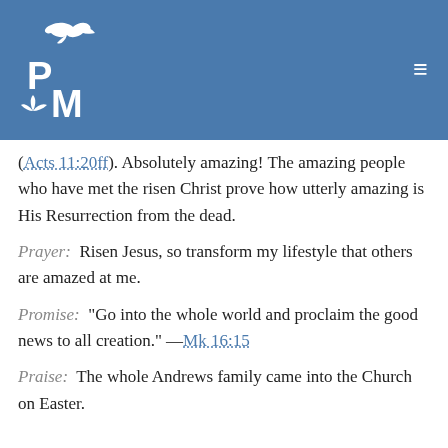[Figure (logo): PM logo with dove/leaf icon in white on blue background, with hamburger menu icon top right]
(Acts 11:20ff). Absolutely amazing! The amazing people who have met the risen Christ prove how utterly amazing is His Resurrection from the dead.
Prayer:  Risen Jesus, so transform my lifestyle that others are amazed at me.
Promise:  "Go into the whole world and proclaim the good news to all creation." —Mk 16:15
Praise:  The whole Andrews family came into the Church on Easter.